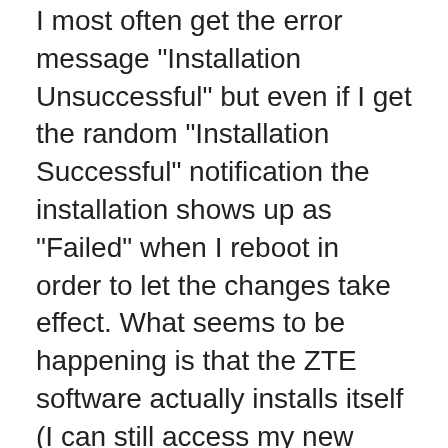I most often get the error message "Installation Unsuccessful" but even if I get the random "Installation Successful" notification the installation shows up as "Failed" when I reboot in order to let the changes take effect. What seems to be happening is that the ZTE software actually installs itself (I can still access my new phone on the computer even after the "Unsuccessful Installation" error message) but each time I plug the phone into the computer's USB port it tries to reinstall the same files all over again.
It's more of an annoyance than anything else. Has anyone else here been experiencing the same "Unsuccessful Installation" issue with the 'ZTE MTP Device Driver' software? I can't seem to figure out why the software has only worked properly on just one computer. I've been in contact with ZTE tech support and they have confirmed that their software is indeed compatible with Windows 7